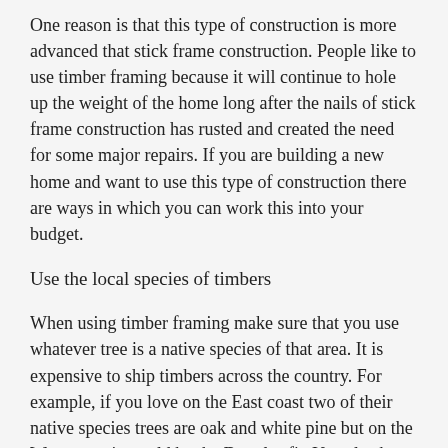One reason is that this type of construction is more advanced that stick frame construction. People like to use timber framing because it will continue to hole up the weight of the home long after the nails of stick frame construction has rusted and created the need for some major repairs. If you are building a new home and want to use this type of construction there are ways in which you can work this into your budget.
Use the local species of timbers
When using timber framing make sure that you use whatever tree is a native species of that area. It is expensive to ship timbers across the country. For example, if you love on the East coast two of their native species trees are oak and white pine but on the West coast it would be the Douglas fir. You also have to look at the cutting and material handling of the joinery. One of the hardest parts to work with is making sure it is